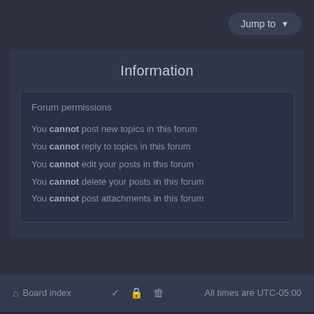[Figure (screenshot): Jump to dropdown button in top right corner]
Information
Forum permissions
You cannot post new topics in this forum
You cannot reply to topics in this forum
You cannot edit your posts in this forum
You cannot delete your posts in this forum
You cannot post attachments in this forum
Board index   ✓ 🔒 🗑   All times are UTC-05:00
Powered by phpBB™